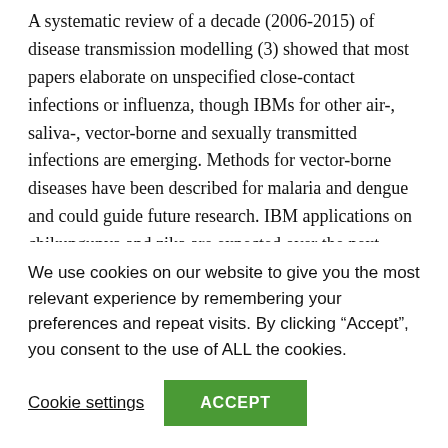A systematic review of a decade (2006-2015) of disease transmission modelling (3) showed that most papers elaborate on unspecified close-contact infections or influenza, though IBMs for other air-, saliva-, vector-borne and sexually transmitted infections are emerging. Methods for vector-borne diseases have been described for malaria and dengue and could guide future research. IBM applications on chikungunya and zika are expected over the next
We use cookies on our website to give you the most relevant experience by remembering your preferences and repeat visits. By clicking “Accept”, you consent to the use of ALL the cookies.
Cookie settings
ACCEPT